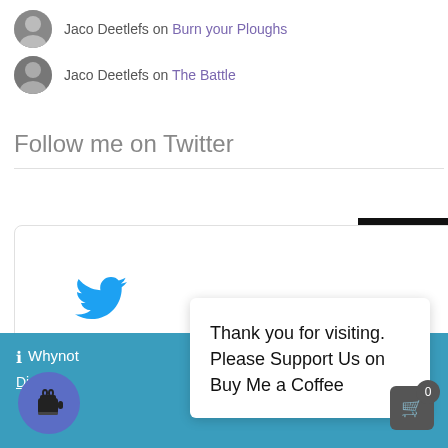Jaco Deetlefs on Burn your Ploughs
Jaco Deetlefs on The Battle
Follow me on Twitter
[Figure (logo): Twitter bird logo inside a white rounded widget box]
[Figure (other): Black box with white '0' numeral]
ℹ Whynot
Dismiss
[Figure (other): Blue circular Buy Me a Coffee button with coffee cup icon]
Thank you for visiting. Please Support Us on Buy Me a Coffee
[Figure (other): Shopping cart icon with badge showing 0]